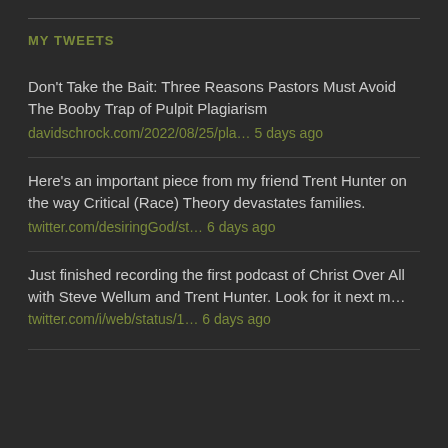MY TWEETS
Don't Take the Bait: Three Reasons Pastors Must Avoid The Booby Trap of Pulpit Plagiarism
davidschrock.com/2022/08/25/pla… 5 days ago
Here's an important piece from my friend Trent Hunter on the way Critical (Race) Theory devastates families.
twitter.com/desiringGod/st… 6 days ago
Just finished recording the first podcast of Christ Over All with Steve Wellum and Trent Hunter. Look for it next m… twitter.com/i/web/status/1… 6 days ago